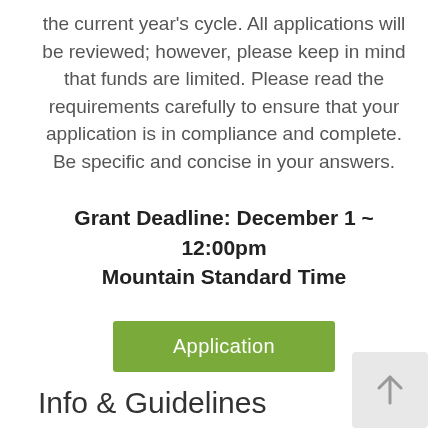the current year's cycle. All applications will be reviewed; however, please keep in mind that funds are limited. Please read the requirements carefully to ensure that your application is in compliance and complete. Be specific and concise in your answers.
Grant Deadline: December 1 ~ 12:00pm Mountain Standard Time
Application
Info & Guidelines